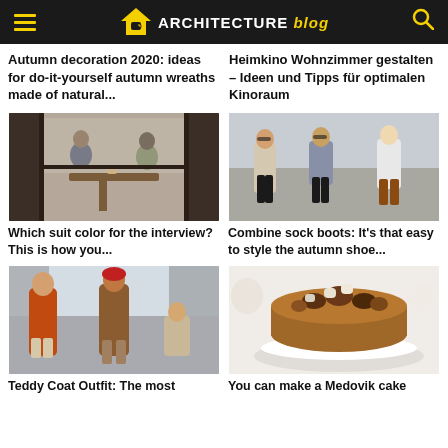ARCHITECTURE blog
Autumn decoration 2020: ideas for do-it-yourself autumn wreaths made of natural...
Heimkino Wohnzimmer gestalten – Ideen und Tipps für optimalen Kinoraum
[Figure (photo): Two people sitting at a café table having a conversation, man in blue suit, woman in olive top]
[Figure (photo): Three women walking on a street in stylish autumn outfits with sock boots]
Which suit color for the interview? This is how you...
Combine sock boots: It's that easy to style the autumn shoe...
[Figure (photo): Two women on a street wearing teddy coats, one in orange coat, one in brown coat]
[Figure (photo): A Medovik honey cake decorated with chocolate pieces on a white plate]
Teddy Coat Outfit: The most
You can make a Medovik cake